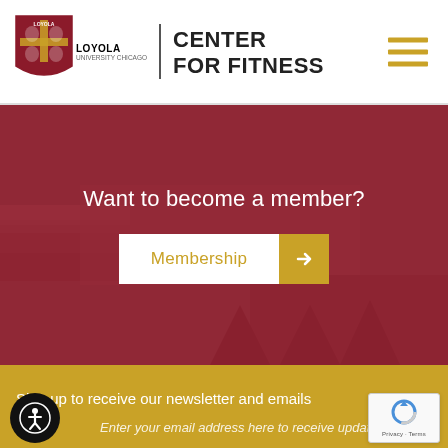[Figure (logo): Loyola University Chicago shield logo with red and gold crest]
CENTER FOR FITNESS
[Figure (screenshot): Hamburger menu icon with three gold horizontal lines]
[Figure (photo): Interior of Loyola fitness center with red tint overlay]
Want to become a member?
Membership →
Sign up to receive our newsletter and emails
Enter your email address here to receive updates
[Figure (other): Accessibility icon button — person in circle]
[Figure (other): Google reCAPTCHA badge with Privacy and Terms links]